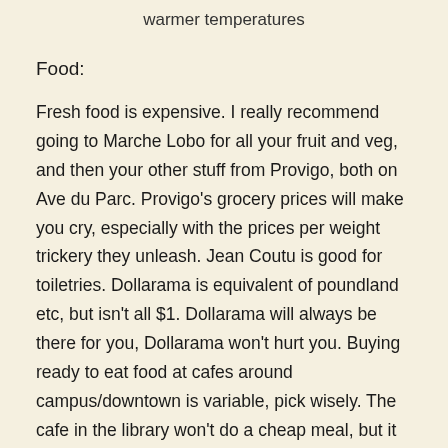warmer temperatures
Food:
Fresh food is expensive. I really recommend going to Marche Lobo for all your fruit and veg, and then your other stuff from Provigo, both on Ave du Parc. Provigo's grocery prices will make you cry, especially with the prices per weight trickery they unleash. Jean Coutu is good for toiletries. Dollarama is equivalent of poundland etc, but isn't all $1. Dollarama will always be there for you, Dollarama won't hurt you. Buying ready to eat food at cafes around campus/downtown is variable, pick wisely. The cafe in the library won't do a cheap meal, but it will serve a selection of macarons and fine cream cakes – what every student wants. Vua on Maisonneuve/McGill College is an amazing sandwich shop, serving 10" rolls for less than $5, regardless of filling. I don't understand their